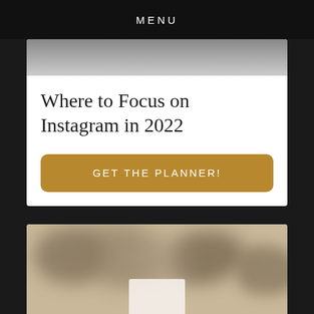MENU
Where to Focus on Instagram in 2022
GET THE PLANNER!
[Figure (photo): Blurred/bokeh photograph with warm sepia tones, partially visible white card element at bottom center]